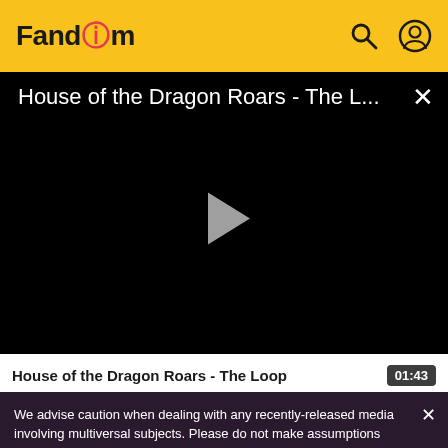Fandom
[Figure (screenshot): Video player showing 'House of the Dragon Roars - The L...' with a play button on black background and a close (X) button in top right]
House of the Dragon Roars - The Loop
01:43
We advise caution when dealing with any recently-released media involving multiversal subjects. Please do not make assumptions regarding confusing wording, other sites' speculation, and people's headcanon around the internet.